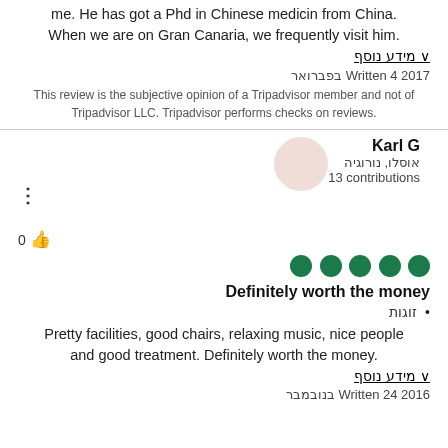me. He has got a Phd in Chinese medicin from China. When we are on Gran Canaria, we frequently visit him.
מידע נוסף ∨
Written 4 2017 בפברואר
This review is the subjective opinion of a Tripadvisor member and not of Tripadvisor LLC. Tripadvisor performs checks on reviews.
Karl G
אוסלו, נורוגיה
13 contributions
[Figure (other): 5 green circle rating dots indicating 5-star review]
Definitely worth the money
• זוגות
Pretty facilities, good chairs, relaxing music, nice people and good treatment. Definitely worth the money.
מידע נוסף ∨
Written 24 2016 בנובמבר